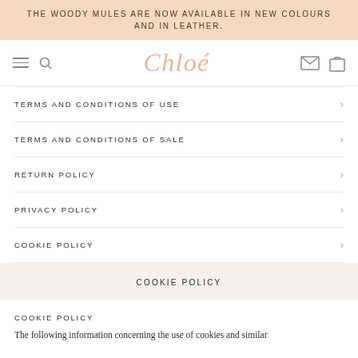THE WOODY MULES ARE NOW AVAILABLE IN NEW COLOURS AND IN LEATHER.
[Figure (logo): Chloé brand logo with hamburger menu, search icon, envelope icon, and bag icon navigation elements]
TERMS AND CONDITIONS OF USE
TERMS AND CONDITIONS OF SALE
RETURN POLICY
PRIVACY POLICY
COOKIE POLICY
COOKIE POLICY
COOKIE POLICY
The following information concerning the use of cookies and similar